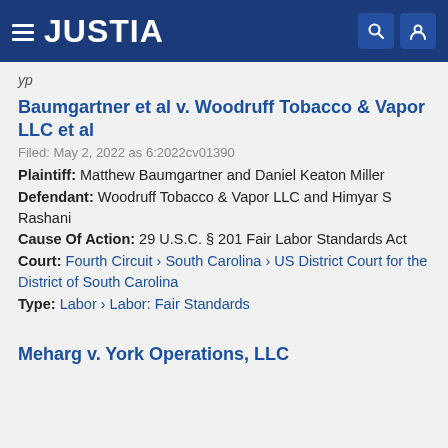JUSTIA
y·
Baumgartner et al v. Woodruff Tobacco & Vapor LLC et al
Filed: May 2, 2022 as 6:2022cv01390
Plaintiff: Matthew Baumgartner and Daniel Keaton Miller
Defendant: Woodruff Tobacco & Vapor LLC and Himyar S Rashani
Cause Of Action: 29 U.S.C. § 201 Fair Labor Standards Act
Court: Fourth Circuit › South Carolina › US District Court for the District of South Carolina
Type: Labor › Labor: Fair Standards
Meharg v. York Operations, LLC